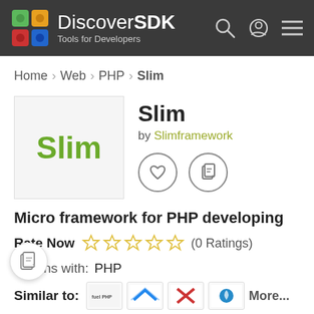[Figure (screenshot): DiscoverSDK website header with logo (colorful blocks), 'DiscoverSDK Tools for Developers' text, and icons for search, user, and menu on dark background]
Home > Web > PHP > Slim
Slim
by Slimframework
Micro framework for PHP developing
Rate Now ☆☆☆☆☆ (0 Ratings)
Works with: PHP
Similar to: More...